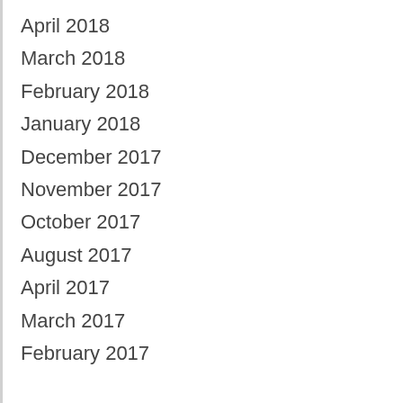April 2018
March 2018
February 2018
January 2018
December 2017
November 2017
October 2017
August 2017
April 2017
March 2017
February 2017